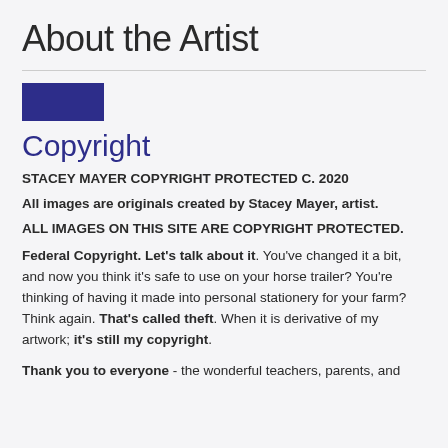About the Artist
[Figure (illustration): A solid dark navy/purple rectangle used as a decorative graphic element]
Copyright
STACEY MAYER COPYRIGHT PROTECTED C. 2020
All images are originals created by Stacey Mayer, artist.
ALL IMAGES ON THIS SITE ARE COPYRIGHT PROTECTED.
Federal Copyright. Let's talk about it. You've changed it a bit, and now you think it's safe to use on your horse trailer? You're thinking of having it made into personal stationery for your farm? Think again. That's called theft. When it is derivative of my artwork; it's still my copyright.
Thank you to everyone - the wonderful teachers, parents, and